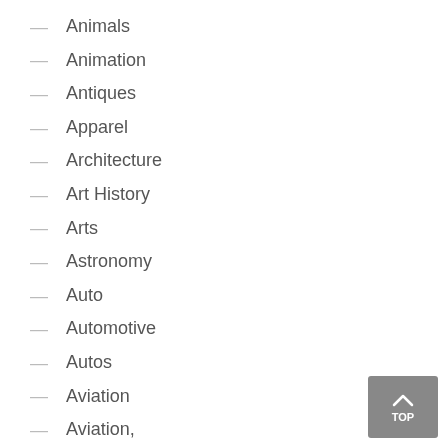Animals
Animation
Antiques
Apparel
Architecture
Art History
Arts
Astronomy
Auto
Automotive
Autos
Aviation
Aviation,